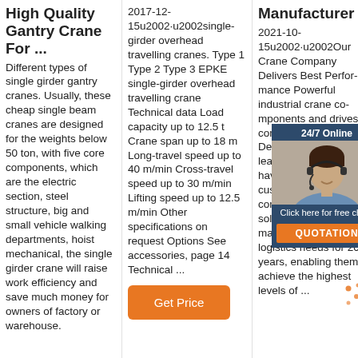High Quality Gantry Crane For ...
Different types of single girder gantry cranes. Usually, these cheap single beam cranes are designed for the weights below 50 ton, with five core components, which are the electric section, steel structure, big and small vehicle walking departments, hoist mechanical, the single girder crane will raise work efficiency and save much money for owners of factory or warehouse.
2017-12-15u2002·u2002single-girder overhead travelling cranes. Type 1 Type 2 Type 3 EPKE single-girder overhead travelling crane Technical data Load capacity up to 12.5 t Crane span up to 18 m Long-travel speed up to 40 m/min Cross-travel speed up to 30 m/min Lifting speed up to 12.5 m/min Other specifications on request Options See accessories, page 14 Technical ...
Get Price
Manufacturer
2021-10-15u2002·u2002Our Crane Company Delivers Best Performance Powerful industrial crane components and drives as core components. Demag is one of the leading manufacturers have been offering our customers a comprehensive range of solutions for their material flow and logistics needs for 200 years, enabling them to achieve the highest levels of ...
[Figure (photo): Customer service representative with headset, 24/7 Online chat widget overlay with QUOTATION button]